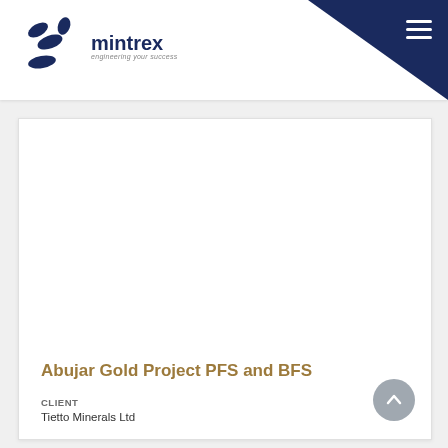mintrex — engineering your success
[Figure (logo): Mintrex logo with blue pill/capsule shapes and the text 'mintrex engineering your success']
Abujar Gold Project PFS and BFS
CLIENT
Tietto Minerals Ltd